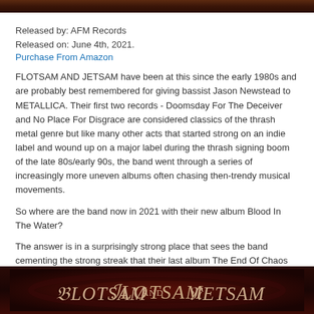[Figure (photo): Dark reddish-brown decorative banner image at the top of the page]
Released by: AFM Records
Released on: June 4th, 2021.
Purchase From Amazon
FLOTSAM AND JETSAM have been at this since the early 1980s and are probably best remembered for giving bassist Jason Newstead to METALLICA. Their first two records - Doomsday For The Deceiver and No Place For Disgrace are considered classics of the thrash metal genre but like many other acts that started strong on an indie label and wound up on a major label during the thrash signing boom of the late 80s/early 90s, the band went through a series of increasingly more uneven albums often chasing then-trendy musical movements.
So where are the band now in 2021 with their new album Blood In The Water?
The answer is in a surprisingly strong place that sees the band cementing the strong streak that their last album The End Of Chaos displayed. Guitarist Michael Gilbert and vocalist Eric A.K. are the longest serving FLOTS members and are the lynchpins of the record. This is well-crafted and powerful melodic thrash with solid songwriting and some excellent lead guitar playing. Eric was well known for his high-pitched screams and with age he's had to adjust that technique but he still sounds very good on this record. What makes this album really enjoyable is the catchy riffs and energetic drumming. The JAWS themed title track is a prime example.
[Figure (photo): Dark red/maroon decorative banner image at the bottom showing the band name FLOTSAM AND JETSAM in stylized metallic lettering]